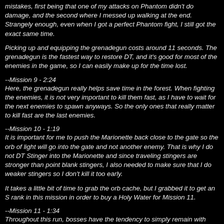mistakes, first being that one of my attacks on Phantom didn't do damage, and the second where I messed up walking at the end. Strangely enough, even when I got a perfect Phantom fight, I still got the exact same time.
Picking up and equipping the grenadegun costs around 11 seconds. The grenadegun is the fastest way to restore DT, and it's good for most of the enemies in the game, so I can easily make up for the time lost.
--Mission 9 - 2:24
Here, the grenadegun really helps save time in the forest. When fighting the enemies, it is not very important to kill them fast, as I have to wait for the next enemies to spawn anyways. So the only ones that really matter to kill fast are the last enemies.
--Mission 10 - 1:19
It is important for me to push the Marionette back close to the gate so the orb of light will go into the gate and not another enemy. That is why I do not DT Stinger into the Marionette and since traveling stingers are stronger than point blank stingers, I also needed to make sure that I do weaker stingers so I don't kill it too early.
It takes a little bit of time to grab the orb cache, but I grabbed it to get an S rank in this mission in order to buy a Holy Water for Mission 11.
--Mission 11 - 1:34
Throughout this run, bosses have the tendency to simply remain with barely any health remaining. Nelo Angelo 2 is the first one, requiring me to shoot a grenade and start a slash canceling combo just to the point where he dies to a Holy Water. Surprisingly enough though, after timing, it